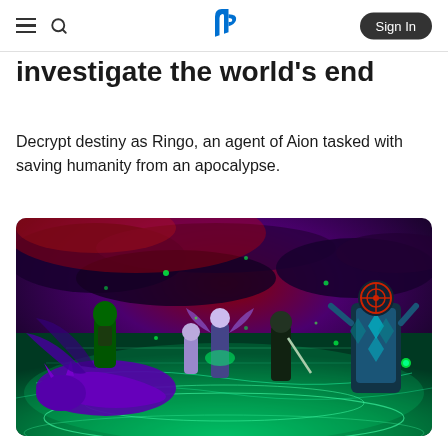PlayStation | Sign In
investigate the world's end
Decrypt destiny as Ringo, an agent of Aion tasked with saving humanity from an apocalypse.
[Figure (screenshot): Game screenshot showing stylized anime characters battling on a glowing green arena floor. Background features dark purple and red clouds. Characters include a winged creature, green-skinned villain, and a tall robed figure. Vibrant neon greens and purples dominate the color scheme.]